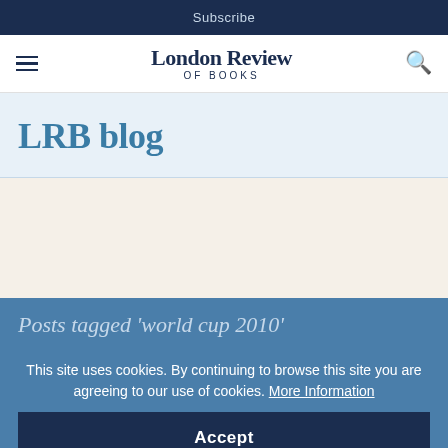Subscribe
London Review OF BOOKS
LRB blog
Posts tagged ‘world cup 2010’
This site uses cookies. By continuing to browse this site you are agreeing to our use of cookies. More Information
Accept
12 JULY 2010